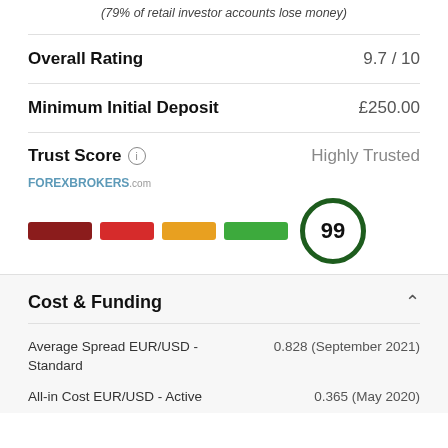(79% of retail investor accounts lose money)
|  |  |
| --- | --- |
| Overall Rating | 9.7 / 10 |
| Minimum Initial Deposit | £250.00 |
| Trust Score | Highly Trusted |
[Figure (infographic): ForexBrokers.com trust score bar showing segments: dark red, red, orange, green, followed by a circular score badge displaying 99 with a dark green border.]
Cost & Funding
|  |  |
| --- | --- |
| Average Spread EUR/USD - Standard | 0.828 (September 2021) |
| All-in Cost EUR/USD - Active | 0.365 (May 2020) |